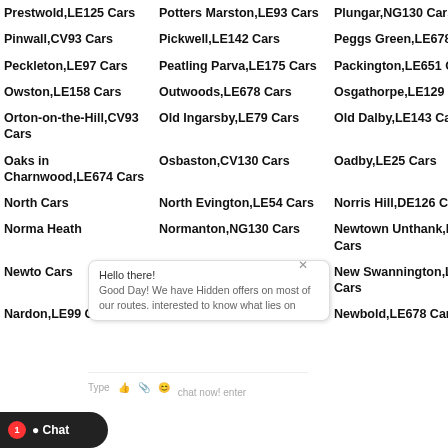Prestwold,LE125 Cars
Potters Marston,LE93 Cars
Plungar,NG130 Cars
Pinwall,CV93 Cars
Pickwell,LE142 Cars
Peggs Green,LE678 Cars
Peckleton,LE97 Cars
Peatling Parva,LE175 Cars
Packington,LE651 Cars
Owston,LE158 Cars
Outwoods,LE678 Cars
Osgathorpe,LE129 Cars
Orton-on-the-Hill,CV93 Cars
Old Ingarsby,LE79 Cars
Old Dalby,LE143 Cars
Oaks in Charnwood,LE674 Cars
Osbaston,CV130 Cars
Oadby,LE25 Cars
North Cars
North Evington,LE54 Cars
Norris Hill,DE126 Cars
Normanton Heath
Normanton,NG130 Cars
Newtown Unthank,LE99 Cars
Newton Cars
Newton Burgoland,LE672 Cars
New Swannington,LE673 Cars
Nardon,LE99 Cars
Newbold Heath,LE99 Cars
Newbold,LE678 Cars